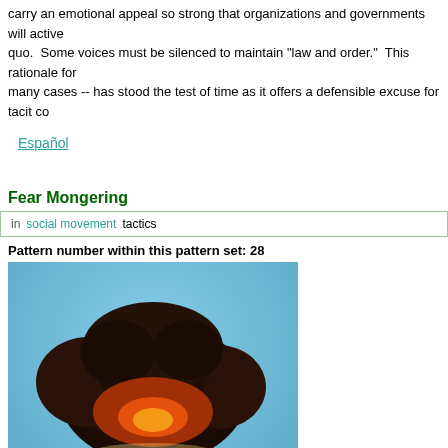carry an emotional appeal so strong that organizations and governments will active quo.  Some voices must be silenced to maintain "law and order."  This rationale for many cases -- has stood the test of time as it offers a defensible excuse for tacit co
Español
Fear Mongering
in  social movement  tactics
Pattern number within this pattern set:  28
[Figure (photo): A nuclear mushroom cloud explosion photograph showing a large orange and red fireball with dark smoke billowing upward into a blue sky, with silhouetted landscape at the bottom.]